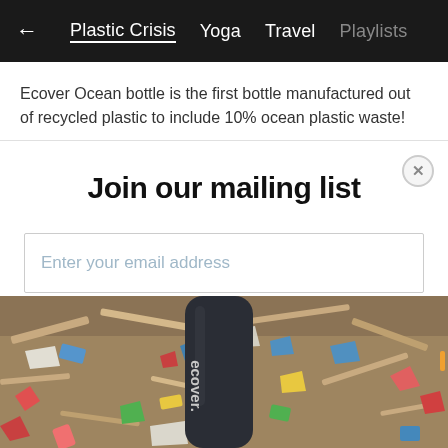← Plastic Crisis  Yoga  Travel  Playlists
Ecover Ocean bottle is the first bottle manufactured out of recycled plastic to include 10% ocean plastic waste!
Join our mailing list
Enter your email address
Subscribe
[Figure (photo): Photo of ocean plastic waste and debris piled on a beach, with a dark Ecover branded bottle visible in the center foreground.]